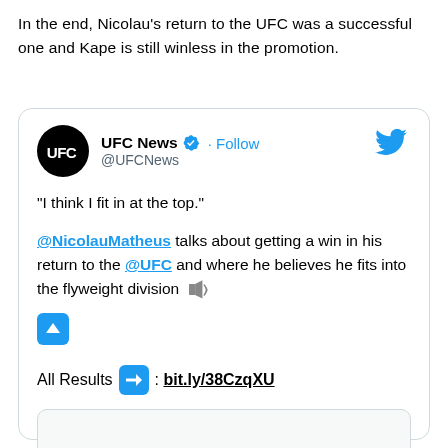In the end, Nicolau's return to the UFC was a successful one and Kape is still winless in the promotion.
[Figure (screenshot): Embedded tweet from UFC News (@UFCNews) with verified badge and Follow button. Tweet text: "I think I fit in at the top." @NicolauMatheus talks about getting a win in his return to the @UFC and where he believes he fits into the flyweight division [speaker emoji] [up-arrow emoji]. All Results [arrow emoji]: bit.ly/38CzqXU. Followed by a media preview thumbnail.]